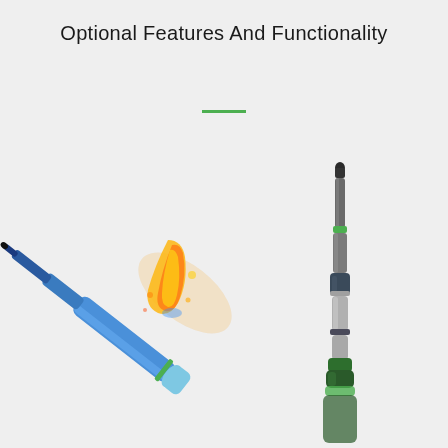Optional Features And Functionality
[Figure (photo): Two industrial probe/tool devices side by side against a light grey background. Left device is blue/white with orange fire/flame effect coming from its tip, angled diagonally. Right device is grey/green metallic, shown vertically with segmented barrel sections and green accent bands.]